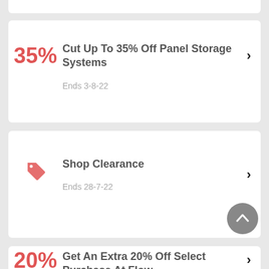35% — Cut Up To 35% Off Panel Storage Systems — Ends 3-8-22
Shop Clearance — Ends 28-7-22
20% — Get An Extra 20% Off Select Purchase At Flow Wall...